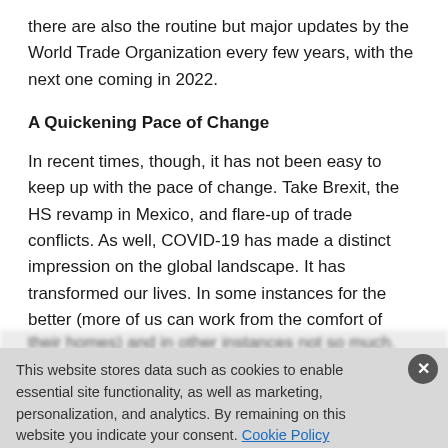there are also the routine but major updates by the World Trade Organization every few years, with the next one coming in 2022.
A Quickening Pace of Change
In recent times, though, it has not been easy to keep up with the pace of change. Take Brexit, the HS revamp in Mexico, and flare-up of trade conflicts. As well, COVID-19 has made a distinct impression on the global landscape. It has transformed our lives. In some instances for the better (more of us can work from the comfort of
This website stores data such as cookies to enable essential site functionality, as well as marketing, personalization, and analytics. By remaining on this website you indicate your consent. Cookie Policy